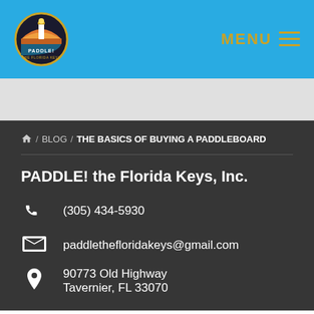[Figure (logo): Paddle! the Florida Keys logo — circular badge with lighthouse and sunset design]
MENU ≡
/ BLOG / THE BASICS OF BUYING A PADDLEBOARD
PADDLE! the Florida Keys, Inc.
(305) 434-5930
paddlethefloridakeys@gmail.com
90773 Old Highway
Tavernier, FL 33070